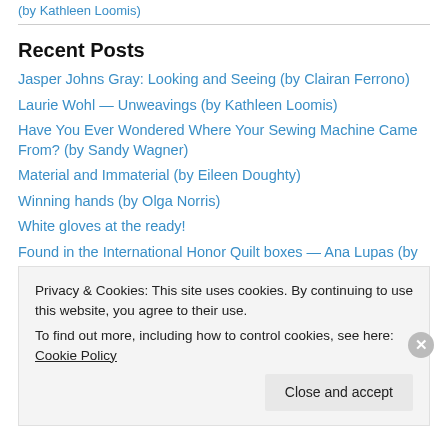(by Kathleen Loomis)
Recent Posts
Jasper Johns Gray: Looking and Seeing (by Clairan Ferrono)
Laurie Wohl — Unweavings (by Kathleen Loomis)
Have You Ever Wondered Where Your Sewing Machine Came From? (by Sandy Wagner)
Material and Immaterial (by Eileen Doughty)
Winning hands (by Olga Norris)
White gloves at the ready!
Found in the International Honor Quilt boxes — Ana Lupas (by Kathleen Loomis)
Privacy & Cookies: This site uses cookies. By continuing to use this website, you agree to their use.
To find out more, including how to control cookies, see here: Cookie Policy
Close and accept